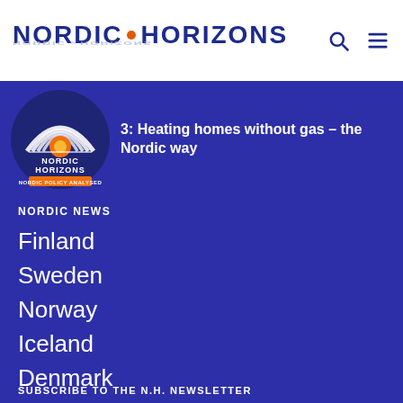NORDIC HORIZONS
[Figure (logo): Nordic Horizons podcast logo — circular badge with rainbow arc, orange sun, dark blue background, text NORDIC HORIZONS NORDIC POLICY ANALYSED]
3: Heating homes without gas – the Nordic way
NORDIC NEWS
Finland
Sweden
Norway
Iceland
Denmark
SUBSCRIBE TO THE N.H. NEWSLETTER